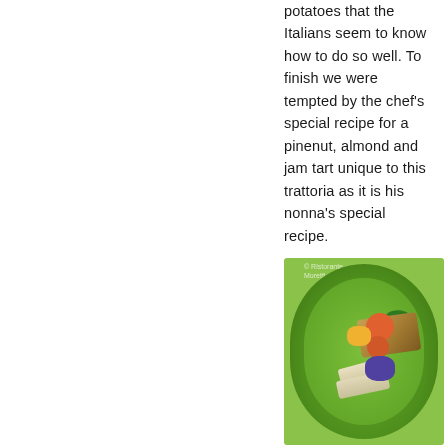potatoes that the Italians seem to know how to do so well. To finish we were tempted by the chef's special recipe for a pinenut, almond and jam tart unique to this trattoria as it is his nonna's special recipe.
[Figure (photo): A food photograph showing a dish served on a green plate, featuring what appears to be fish or meat with roasted vegetables including tomatoes and olives, garnished with fresh herbs, alongside white asparagus or similar vegetables.]